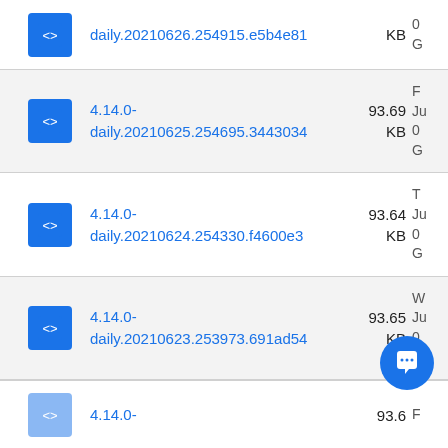| Icon | Package | Size | Meta |
| --- | --- | --- | --- |
| [icon] | daily.20210626.254915.e5b4e81 | KB | 0 G |
| [icon] | 4.14.0-daily.20210625.254695.3443034 | 93.69 KB | Ju 0 G |
| [icon] | 4.14.0-daily.20210624.254330.f4600e3 | 93.64 KB | Ju 0 G |
| [icon] | 4.14.0-daily.20210623.253973.691ad54 | 93.65 KB | Ju 0 G |
| [icon] | 4.14.0- | 93.6 |  |